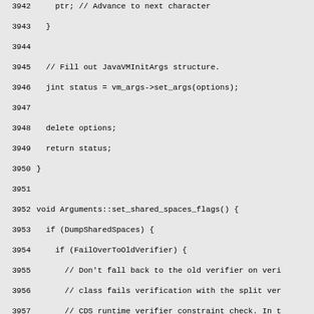Source code listing lines 3942-3972, C++ code for Arguments::set_shared_spaces_flags() function